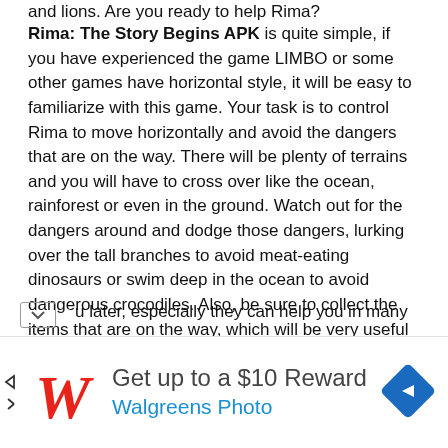and lions. Are you ready to help Rima?
Rima: The Story Begins APK is quite simple, if you have experienced the game LIMBO or some other games have horizontal style, it will be easy to familiarize with this game. Your task is to control Rima to move horizontally and avoid the dangers that are on the way. There will be plenty of terrains and you will have to cross over like the ocean, rainforest or even in the ground. Watch out for the dangers around and dodge those dangers, lurking over the tall branches to avoid meat-eating dinosaurs or swim deep in the ocean to avoid dangerous crocodiles. Also, be sure to collect the items that are on the way, which will be very useful u later, especially they can help you in many
[Figure (infographic): Walgreens Photo advertisement banner with red cursive W logo, text 'Get up to a $10 Reward' and 'Walgreens Photo', and a blue diamond navigation icon on the right. Arrow navigation controls on the left side.]